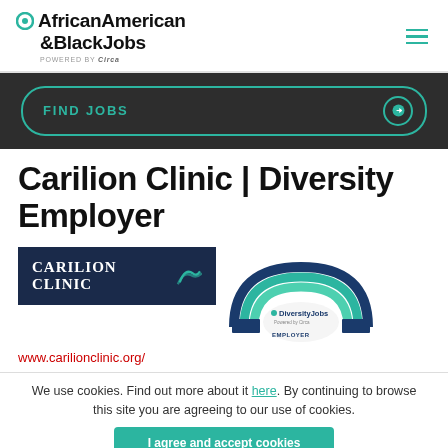AfricanAmerican &BlackJobs powered by Circa
[Figure (screenshot): FIND JOBS button with teal border and arrow on dark background]
Carilion Clinic | Diversity Employer
[Figure (logo): CarilionClinic logo on dark navy background]
[Figure (logo): DiversityJobs Employer badge with rainbow arc]
www.carilionclinic.org/
We use cookies. Find out more about it here. By continuing to browse this site you are agreeing to our use of cookies.
I agree and accept cookies